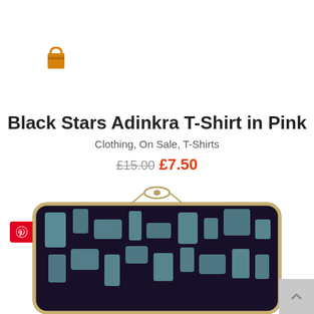[Figure (logo): Orange shopping bag icon]
Black Stars Adinkra T-Shirt in Pink
Clothing, On Sale, T-Shirts
£15.00 £7.50
[Figure (other): Pinterest Save button in red]
[Figure (photo): Dark patterned clutch purse with gold clasp and teal geometric pattern]